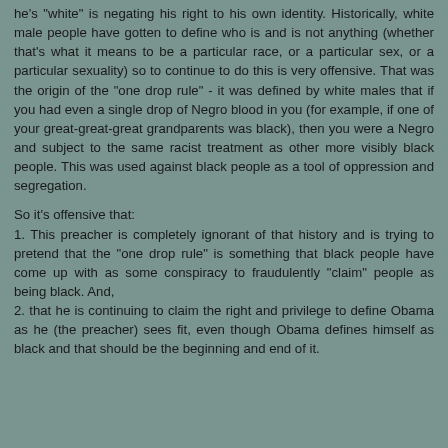he's "white" is negating his right to his own identity. Historically, white male people have gotten to define who is and is not anything (whether that's what it means to be a particular race, or a particular sex, or a particular sexuality) so to continue to do this is very offensive. That was the origin of the "one drop rule" - it was defined by white males that if you had even a single drop of Negro blood in you (for example, if one of your great-great-great grandparents was black), then you were a Negro and subject to the same racist treatment as other more visibly black people. This was used against black people as a tool of oppression and segregation.
So it's offensive that:
1. This preacher is completely ignorant of that history and is trying to pretend that the "one drop rule" is something that black people have come up with as some conspiracy to fraudulently "claim" people as being black. And,
2. that he is continuing to claim the right and privilege to define Obama as he (the preacher) sees fit, even though Obama defines himself as black and that should be the beginning and end of it.